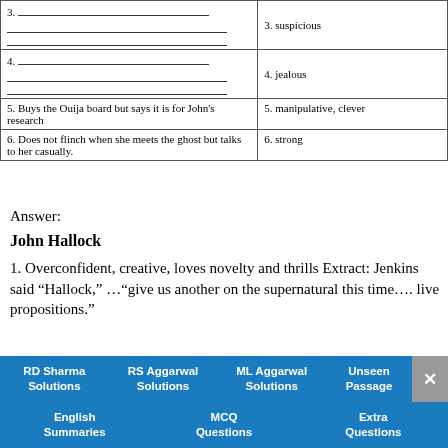| Action/Trait | Character Quality |
| --- | --- |
| 3. ___ / ___ / ___ | 3. suspicious |
| 4. ___ / ___ / ___ | 4. jealous |
| 5. Buys the Ouija board but says it is for John's research | 5. manipulative, clever |
| 6. Does not flinch when she meets the ghost but talks to her casually. | 6. strong |
Answer:
John Hallock
1. Overconfident, creative, loves novelty and thrills Extract: Jenkins said “Hallock,” …“give us another on the supernatural this time…. live propositions.”
4. Extract: And somehow I’d always been able to dig one up for him, as I’d begun to get a bit easy as to
[Figure (infographic): Navigation bar with teal buttons: RD Sharma Solutions, RS Aggarwal Solutions, ML Aggarwal Solutions, Unseen Passage, English Summaries, MCQ Questions, Extra Questions, and a close X button]